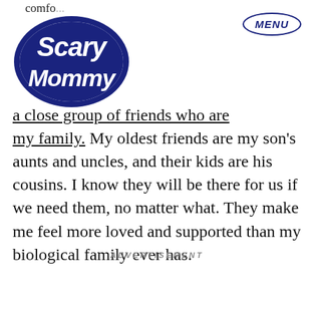comfo...
[Figure (logo): Scary Mommy logo in dark navy blue with stylized script lettering]
MENU
a close group of friends who are my family. My oldest friends are my son's aunts and uncles, and their kids are his cousins. I know they will be there for us if we need them, no matter what. They make me feel more loved and supported than my biological family ever has.
ADVERTISEMENT